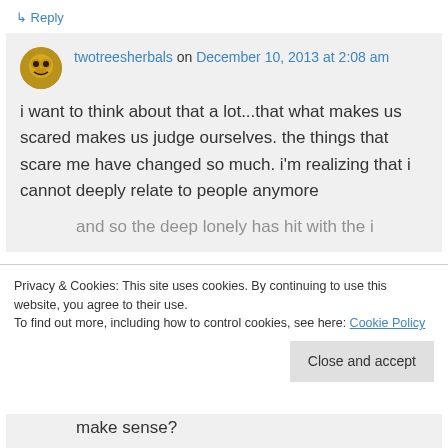↳ Reply
twotreesherbals on December 10, 2013 at 2:08 am
i want to think about that a lot...that what makes us scared makes us judge ourselves. the things that scare me have changed so much. i'm realizing that i cannot deeply relate to people anymore
Privacy & Cookies: This site uses cookies. By continuing to use this website, you agree to their use.
To find out more, including how to control cookies, see here: Cookie Policy
Close and accept
make sense?